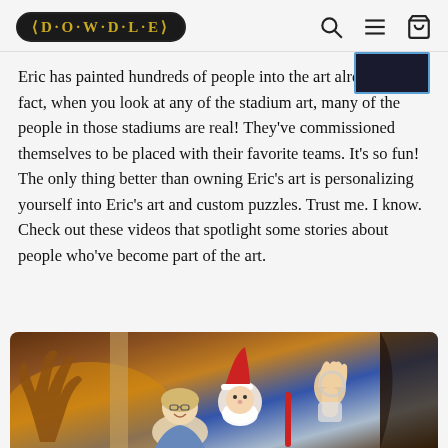DOWDLE
Eric has painted hundreds of people into the art already. In fact, when you look at any of the stadium art, many of the people in those stadiums are real! They've commissioned themselves to be placed with their favorite teams. It's so fun! The only thing better than owning Eric's art is personalizing yourself into Eric's art and custom puzzles. Trust me. I know. Check out these videos that spotlight some stories about people who've become part of the art.
[Figure (photo): Colorful illustrated artwork showing figures including a woman with glasses smiling, a figure in blue (Santa Claus-like), and other characters in a festive scene]